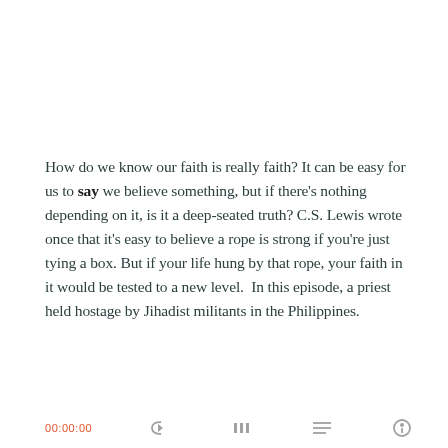How do we know our faith is really faith? It can be easy for us to say we believe something, but if there's nothing depending on it, is it a deep-seated truth? C.S. Lewis wrote once that it's easy to believe a rope is strong if you're just tying a box. But if your life hung by that rope, your faith in it would be tested to a new level.  In this episode, a priest held hostage by Jihadist militants in the Philippines.
[Figure (other): Podcast player card for 'Faith Full Podcast', episode 3: Facing Terror, Finding Hope. Shows a play button (orange triangle), podcast label, episode title, progress bar, time display, and playback control icons.]